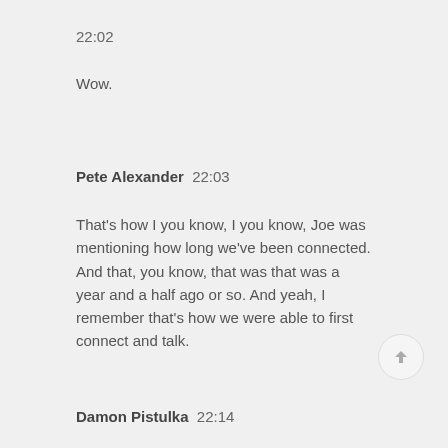22:02
Wow.
Pete Alexander  22:03
That's how I you know, I you know, Joe was mentioning how long we've been connected. And that, you know, that was that was a year and a half ago or so. And yeah, I remember that's how we were able to first connect and talk.
Damon Pistulka  22:14